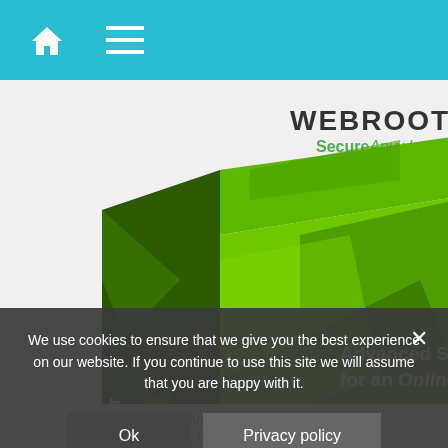[Figure (screenshot): Navigation bar with home icon and hamburger menu icon on teal/cyan background]
[Figure (photo): Webroot SecureAnywhere antivirus software box with green geometric design, text 'Advanced Security for an Online World', cloud icon with 'Always Up To Date', and laptop icon below the box]
We use cookies to ensure that we give you the best experience on our website. If you continue to use this site we will assume that you are happy with it.
Webroot SecureAnywhere Antivirus | 2021 | PC / 1 Device, No CD